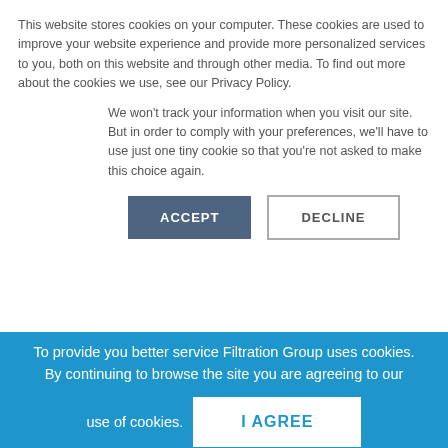This website stores cookies on your computer. These cookies are used to improve your website experience and provide more personalized services to you, both on this website and through other media. To find out more about the cookies we use, see our Privacy Policy.
We won't track your information when you visit our site. But in order to comply with your preferences, we'll have to use just one tiny cookie so that you're not asked to make this choice again.
ACCEPT | DECLINE
Filtration Solutions
To provide you better service Filtration Group uses cookies. By continuing to browse the site you are agreeing to our use of cookies.
I AGREE